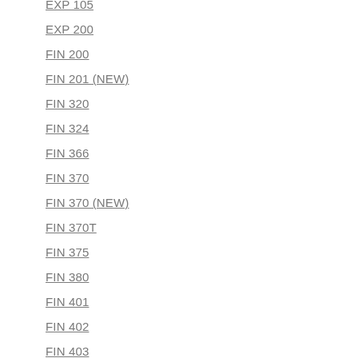EXP 105
EXP 200
FIN 200
FIN 201 (NEW)
FIN 320
FIN 324
FIN 366
FIN 370
FIN 370 (NEW)
FIN 370T
FIN 375
FIN 380
FIN 401
FIN 402
FIN 403
FIN 415
FIN 419
FIN 419 (NEW)